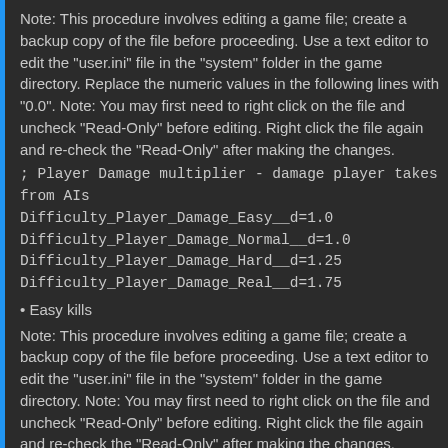Note: This procedure involves editing a game file; create a backup copy of the file before proceeding. Use a text editor to edit the "user.ini" file in the "system" folder in the game directory. Replace the numeric values in the following lines with "0.0". Note: You may first need to right click on the file and uncheck "Read-Only" before editing. Right click the file again and re-check the "Read-Only" after making the changes.
; Player Damage multiplier - damage player takes from AIs
Difficulty_Player_Damage_Easy__d=1.0
Difficulty_Player_Damage_Normal__d=1.0
Difficulty_Player_Damage_Hard__d=1.25
Difficulty_Player_Damage_Real__d=1.75
Easy kills
Note: This procedure involves editing a game file; create a backup copy of the file before proceeding. Use a text editor to edit the "user.ini" file in the "system" folder in the game directory. Note: You may first need to right click on the file and uncheck "Read-Only" before editing. Right click the file again and re-check the "Read-Only" after making the changes.
Replace this line: